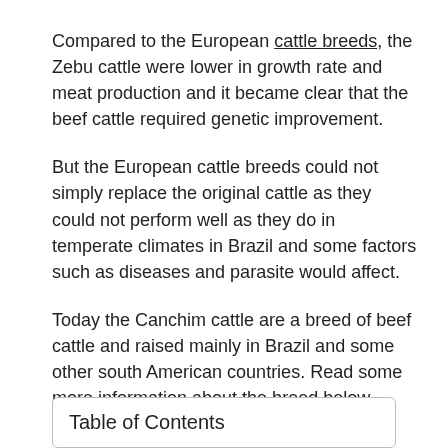Compared to the European cattle breeds, the Zebu cattle were lower in growth rate and meat production and it became clear that the beef cattle required genetic improvement.
But the European cattle breeds could not simply replace the original cattle as they could not perform well as they do in temperate climates in Brazil and some factors such as diseases and parasite would affect.
Today the Canchim cattle are a breed of beef cattle and raised mainly in Brazil and some other south American countries. Read some more information about the breed below.
Table of Contents